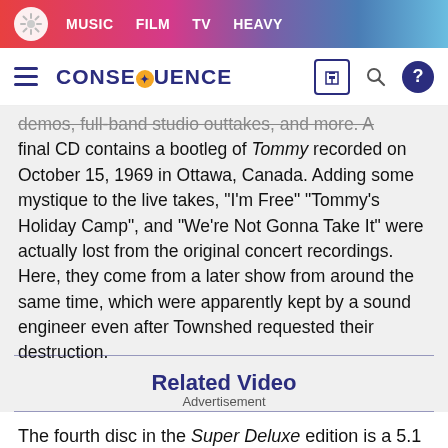MUSIC FILM TV HEAVY
CONSEQUENCE
demos, full-band studio outtakes, and more. A final CD contains a bootleg of Tommy recorded on October 15, 1969 in Ottawa, Canada. Adding some mystique to the live takes, “I’m Free” “Tommy’s Holiday Camp”, and “We’re Not Gonna Take It” were actually lost from the original concert recordings. Here, they come from a later show from around the same time, which were apparently kept by a sound engineer even after Townshed requested their destruction.
Related Video
Advertisement
The fourth disc in the Super Deluxe edition is a 5.1